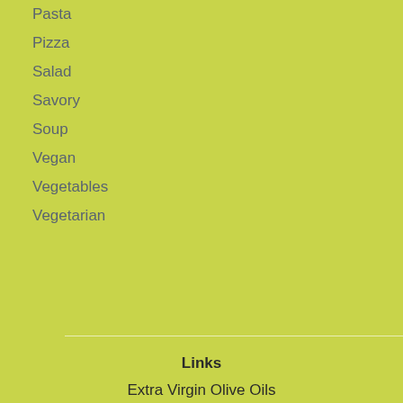Pasta
Pizza
Salad
Savory
Soup
Vegan
Vegetables
Vegetarian
Links
Extra Virgin Olive Oils